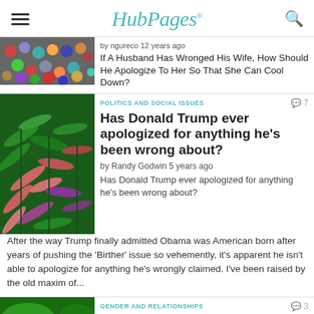HubPages
If A Husband Has Wronged His Wife, How Should He Apologize To Her So That She Can Cool Down?
by ngureco 12 years ago
POLITICS AND SOCIAL ISSUES
Has Donald Trump ever apologized for anything he's been wrong about?
by Randy Godwin 5 years ago
Has Donald Trump ever apologized for anything he's been wrong about? After the way Trump finally admitted Obama was American born after years of pushing the 'Birther' issue so vehemently, it's apparent he isn't able to apologize for anything he's wrongly claimed. I've been raised by the old maxim of...
GENDER AND RELATIONSHIPS
What is the worse thing